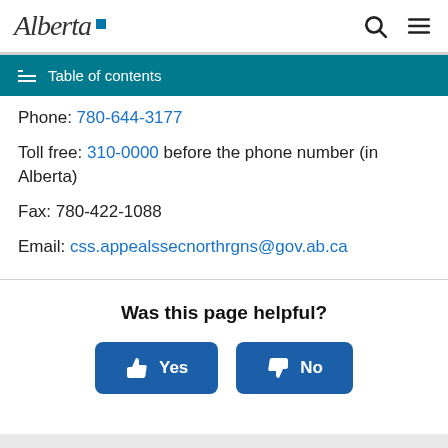Alberta [logo]
Table of contents
Phone: 780-644-3177
Toll free: 310-0000 before the phone number (in Alberta)
Fax: 780-422-1088
Email: css.appealssecnorthrgns@gov.ab.ca
Was this page helpful?
Yes
No